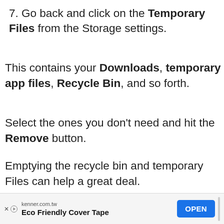7. Go back and click on the Temporary Files from the Storage settings.
This contains your Downloads, temporary app files, Recycle Bin, and so forth.
Select the ones you don't need and hit the Remove button.
Emptying the recycle bin and temporary Files can help a great deal.
1. Head back to the Storage settings one
kenner.com.tw Eco Friendly Cover Tape OPEN